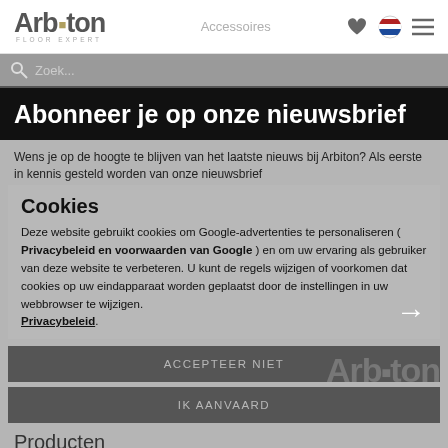[Figure (logo): Arbiton Floor Expert logo in gray tones]
Accessoires
Search bar with Zoek... placeholder
Abonneer je op onze nieuwsbrief
Wens je op de hoogte te blijven van het laatste nieuws bij Arbiton? Als eerste in kennis gesteld worden van onze nieuwsbrief
Cookies
Deze website gebruikt cookies om Google-advertenties te personaliseren ( Privacybeleid en voorwaarden van Google ) en om uw ervaring als gebruiker van deze website te verbeteren. U kunt de regels wijzigen of voorkomen dat cookies op uw eindapparaat worden geplaatst door de instellingen in uw webbrowser te wijzigen. Privacybeleid.
ACCEPTEER NIET
IK AANVAARD
Producten